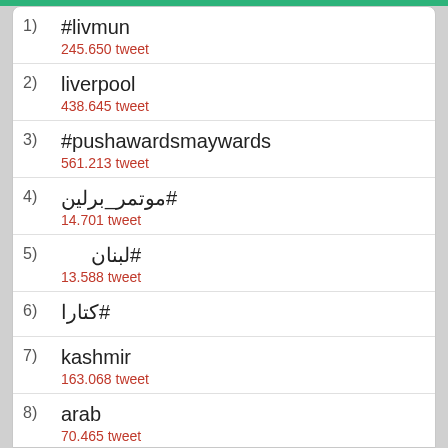1) #livmun — 245.650 tweet
2) liverpool — 438.645 tweet
3) #pushawardsmaywards — 561.213 tweet
4) #موتمر_برلين — 14.701 tweet
5) #لبنان — 13.588 tweet
6) #كتارا
7) kashmir — 163.068 tweet
8) arab — 70.465 tweet
9) Beautiful — 654.408 tweet